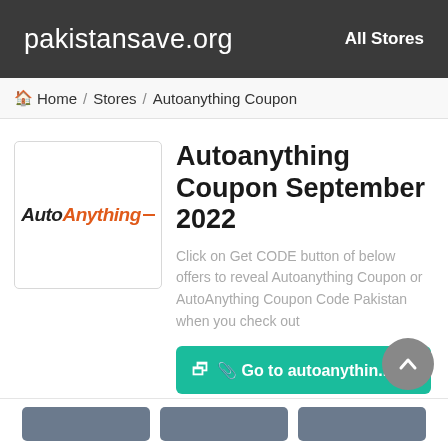pakistansave.org   All Stores
Home / Stores / Autoanything Coupon
[Figure (logo): AutoAnything logo in italic bold text with 'Auto' in dark/black and 'Anything' in orange, followed by a small orange dash]
Autoanything Coupon September 2022
Click on Get CODE button of below offers to reveal Autoanything Coupon or AutoAnything Coupon Code Pakistan when you check out
Go to autoanythin...